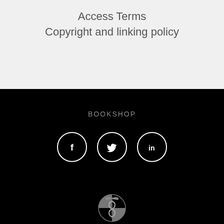Access Terms
Copyright and linking policy
BOOKSHOP
[Figure (illustration): Three circular social media icons: Facebook (f), Twitter (bird), LinkedIn (in), with white outlines on black background]
[Figure (logo): AMA Australian Medical Association logo in grey on black background, with caduceus-style emblem above the AMA text]